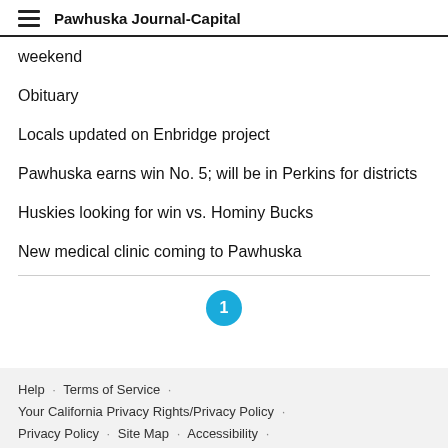Pawhuska Journal-Capital
weekend
Obituary
Locals updated on Enbridge project
Pawhuska earns win No. 5; will be in Perkins for districts
Huskies looking for win vs. Hominy Bucks
New medical clinic coming to Pawhuska
1
Help · Terms of Service · Your California Privacy Rights/Privacy Policy · Privacy Policy · Site Map · Accessibility ·